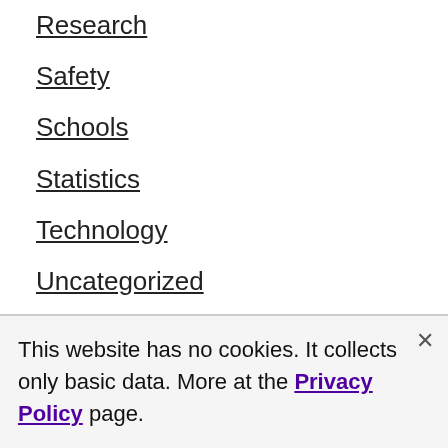Research
Safety
Schools
Statistics
Technology
Uncategorized
Video Games
This website has no cookies. It collects only basic data. More at the Privacy Policy page.